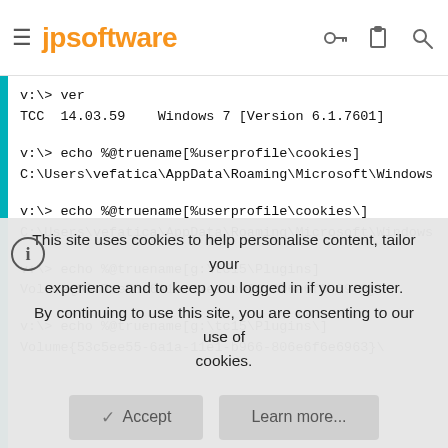jpsoftware
[Figure (screenshot): Terminal/command-line code block showing TCC commands and output including ver, echo %@truename commands with Windows path and volume GUID results]
This site uses cookies to help personalise content, tailor your experience and to keep you logged in if you register.
By continuing to use this site, you are consenting to our use of cookies.